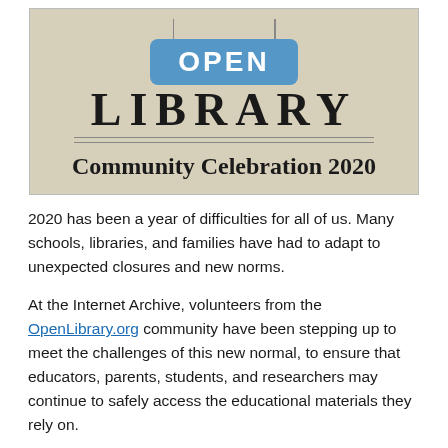[Figure (illustration): Open Library Community Celebration 2020 banner. Beige/tan background with a blue rounded-rectangle badge reading OPEN, below it large serif text reading LIBRARY with decorative horizontal rules, and below that cursive text reading Community Celebration 2020.]
2020 has been a year of difficulties for all of us. Many schools, libraries, and families have had to adapt to unexpected closures and new norms.
At the Internet Archive, volunteers from the OpenLibrary.org community have been stepping up to meet the challenges of this new normal, to ensure that educators, parents, students, and researchers may continue to safely access the educational materials they rely on.
This Tuesday, October 27, at 11:30 am PDT, we invite you to